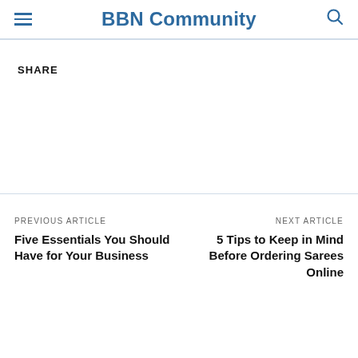BBN Community
SHARE
PREVIOUS ARTICLE
Five Essentials You Should Have for Your Business
NEXT ARTICLE
5 Tips to Keep in Mind Before Ordering Sarees Online